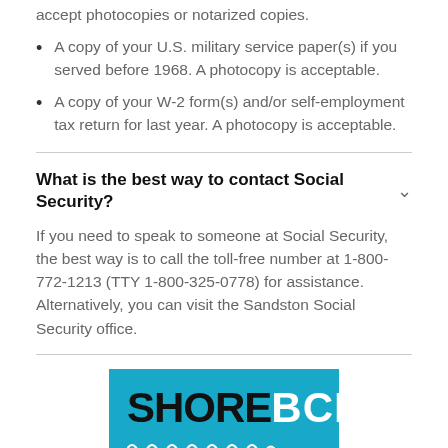accept photocopies or notarized copies.
A copy of your U.S. military service paper(s) if you served before 1968. A photocopy is acceptable.
A copy of your W-2 form(s) and/or self-employment tax return for last year. A photocopy is acceptable.
What is the best way to contact Social Security?
If you need to speak to someone at Social Security, the best way is to call the toll-free number at 1-800-772-1213 (TTY 1-800-325-0778) for assistance. Alternatively, you can visit the Sandston Social Security office.
[Figure (logo): SHORE BCN logo on a teal/blue background with wave decorations and underline]